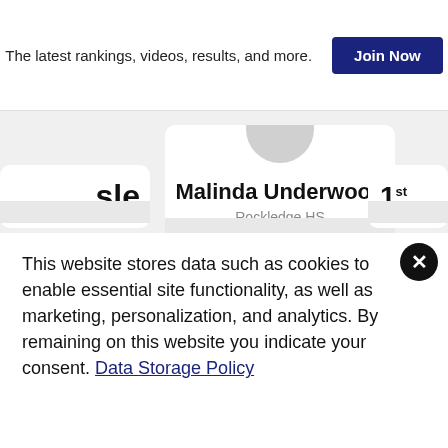The latest rankings, videos, results, and more.
Join Now
Malinda Underwood
Rockledge HS
HS Girls 5K
1st
sle
D
This website stores data such as cookies to enable essential site functionality, as well as marketing, personalization, and analytics. By remaining on this website you indicate your consent. Data Storage Policy